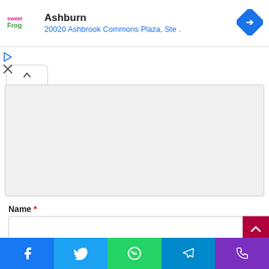[Figure (screenshot): sweetFrog logo — colorful text logo]
Ashburn
20020 Ashbrook Commons Plaza, Ste .
[Figure (illustration): Blue diamond navigation/directions icon]
[Figure (illustration): Play/forward and X/close icons on left side]
[Figure (map): Map panel with expand tab showing a map area]
Name *
[Figure (screenshot): Name input field (empty text box)]
Email *
[Figure (screenshot): Bottom share bar with Facebook, Twitter, WhatsApp, Telegram, and Phone icons]